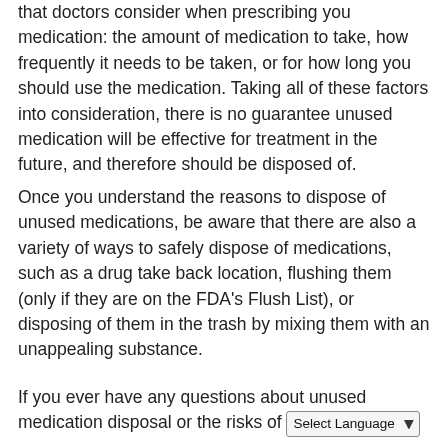that doctors consider when prescribing you medication: the amount of medication to take, how frequently it needs to be taken, or for how long you should use the medication. Taking all of these factors into consideration, there is no guarantee unused medication will be effective for treatment in the future, and therefore should be disposed of.
Once you understand the reasons to dispose of unused medications, be aware that there are also a variety of ways to safely dispose of medications, such as a drug take back location, flushing them (only if they are on the FDA's Flush List), or disposing of them in the trash by mixing them with an unappealing substance.
If you ever have any questions about unused medication disposal or the risks of [Select Language ▼]